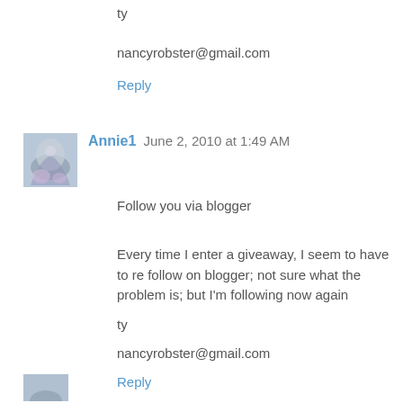ty
nancyrobster@gmail.com
Reply
Annie1  June 2, 2010 at 1:49 AM
Follow you via blogger
Every time I enter a giveaway, I seem to have to re follow on blogger; not sure what the problem is; but I'm following now again
ty
nancyrobster@gmail.com
Reply